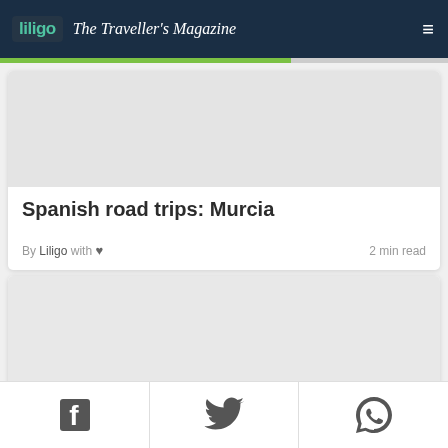Liligo · The Traveller's Magazine
[Figure (other): Article card image placeholder (grey rectangle)]
Spanish road trips: Murcia
By Liligo with ♥  2 min read
[Figure (other): Second article card image placeholder (grey rectangle)]
[Figure (other): Social share bar with Facebook, Twitter, and WhatsApp icons]